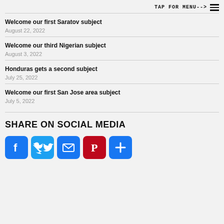TAP FOR MENU-->
Welcome our first Saratov subject
August 22, 2022
Welcome our third Nigerian subject
August 3, 2022
Honduras gets a second subject
July 25, 2022
Welcome our first San Jose area subject
July 5, 2022
SHARE ON SOCIAL MEDIA
[Figure (infographic): Social media share buttons: Facebook, Twitter, Email, Pinterest, and a plus/more button]